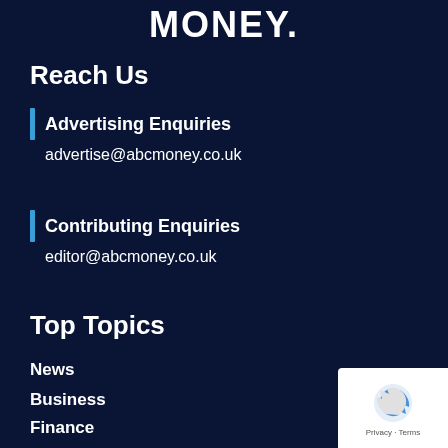MONEY.
Reach Us
Advertising Enquiries
advertise@abcmoney.co.uk
Contributing Enquiries
editor@abcmoney.co.uk
Top Topics
News
Business
Finance
Property